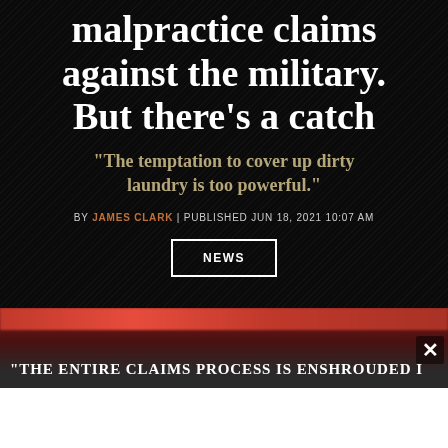malpractice claims against the military. But there's a catch
"The temptation to cover up dirty laundry is too powerful."
BY JAMES CLARK | PUBLISHED JUN 18, 2021 10:07 AM
NEWS
[Figure (photo): Dark background with red brushstroke imagery and partial text overlay reading '“THE ENTIRE CLAIMS PROCESS IS ENSHROUDED I…' with a close button]
“THE ENTIRE CLAIMS PROCESS IS ENSHROUDED I…